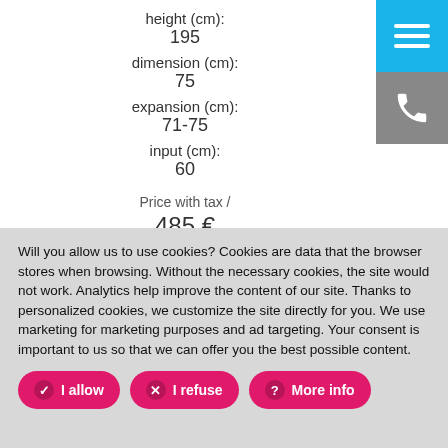height (cm): 195
dimension (cm): 75
expansion (cm): 71-75
input (cm): 60
Price with tax /
485 €
GLASSB1CH8062
GLASS B1 80
glass:
Will you allow us to use cookies? Cookies are data that the browser stores when browsing. Without the necessary cookies, the site would not work. Analytics help improve the content of our site. Thanks to personalized cookies, we customize the site directly for you. We use marketing for marketing purposes and ad targeting. Your consent is important to us so that we can offer you the best possible content.